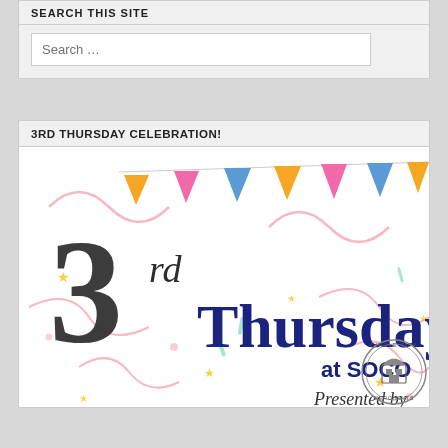SEARCH THIS SITE
Search ...
3RD THURSDAY CELEBRATION!
[Figure (illustration): 3rd Thursday at SOCO promotional banner image with colorful bunting flags (blue, pink, orange), confetti, swirls, large stylized '3rd Thursday at SOCO' text, and 'Presented by Circle City Merchants' logo]